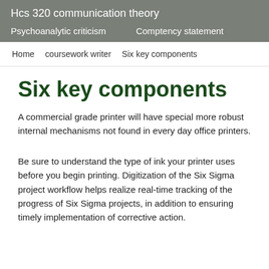Hcs 320 communication theory
Psychoanalytic criticism    Comptency statement
Home   coursework writer   Six key components
Six key components
A commercial grade printer will have special more robust internal mechanisms not found in every day office printers.
Be sure to understand the type of ink your printer uses before you begin printing. Digitization of the Six Sigma project workflow helps realize real-time tracking of the progress of Six Sigma projects, in addition to ensuring timely implementation of corrective action.